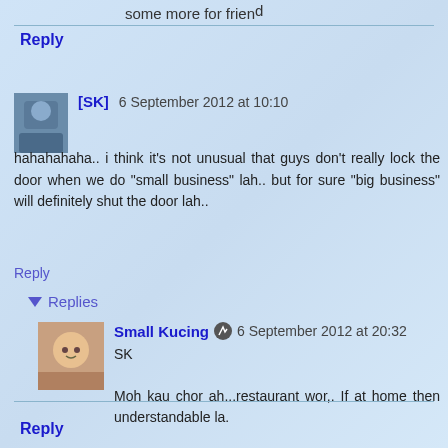some more for friend
Reply
[SK] 6 September 2012 at 10:10
hahahahaha.. i think it's not unusual that guys don't really lock the door when we do "small business" lah.. but for sure "big business" will definitely shut the door lah..
Reply
Replies
Small Kucing 6 September 2012 at 20:32
SK

Moh kau chor ah...restaurant wor,. If at home then understandable la.
Reply